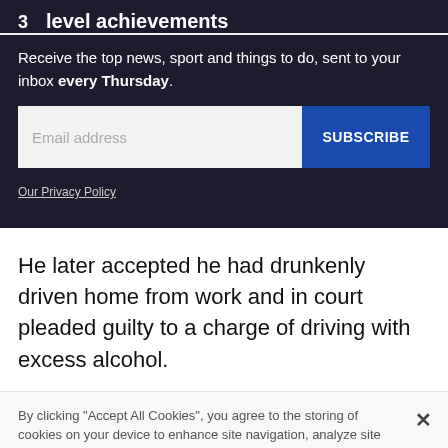3   level achievements
Receive the top news, sport and things to do, sent to your inbox every Thursday.
Email address  SUBSCRIBE
Our Privacy Policy
He later accepted he had drunkenly driven home from work and in court pleaded guilty to a charge of driving with excess alcohol.
By clicking "Accept All Cookies", you agree to the storing of cookies on your device to enhance site navigation, analyze site usage, and assist in our marketing efforts.